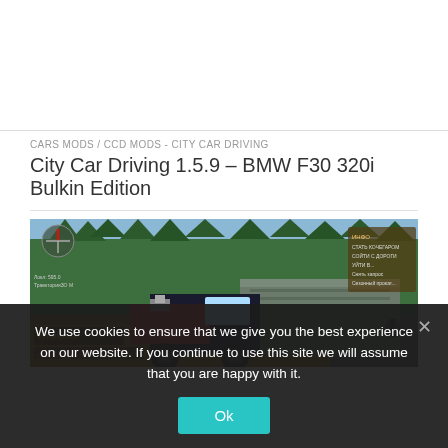CARS MODS / CCD MODS - CITY CAR DRIVING
City Car Driving 1.5.9 – BMW F30 320i Bulkin Edition
[Figure (screenshot): Screenshot of a vehicle mod in a game showing a red and black modified truck/tractor pulling a cargo trailer on a dirt road, surrounded by pine trees. Game HUD elements visible including compass, coordinates, and Cyrillic text menu on right side.]
We use cookies to ensure that we give you the best experience on our website. If you continue to use this site we will assume that you are happy with it.